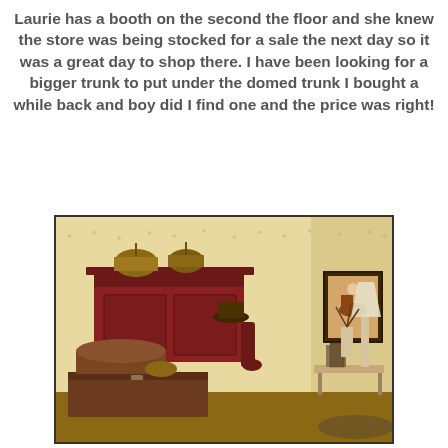Laurie has a booth on the second the floor and she knew the store was being stocked for a sale the next day so it was a great day to shop there. I have been looking for a bigger trunk to put under the domed trunk I bought a while back and boy did I find one and the price was right!
[Figure (photo): Interior room photo showing a red wall-mounted cabinet with baskets on top, stenciled snowflake border on wall, a dark wooden trunk on the floor, a small domed trunk on top, decorative items including a stocking and hat hanging on wall, a framed picture of a child on a rocking horse, and a table with lamp and items in the right background.]